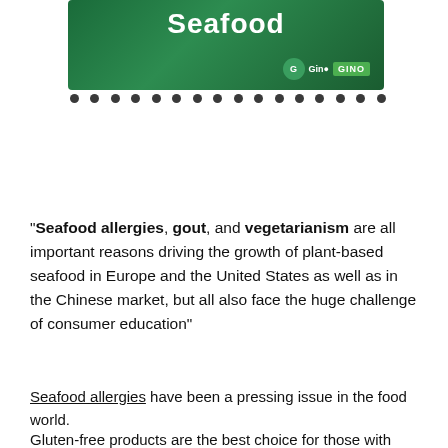[Figure (illustration): Green banner image with the word 'Seafood' in large white bold font, overlaid on a dark green leafy background, with a Gino brand logo at the bottom right]
"Seafood allergies, gout, and vegetarianism are all important reasons driving the growth of plant-based seafood in Europe and the United States as well as in the Chinese market, but all also face the huge challenge of consumer education"
Seafood allergies have been a pressing issue in the food world.
Gluten-free products are the best choice for those with